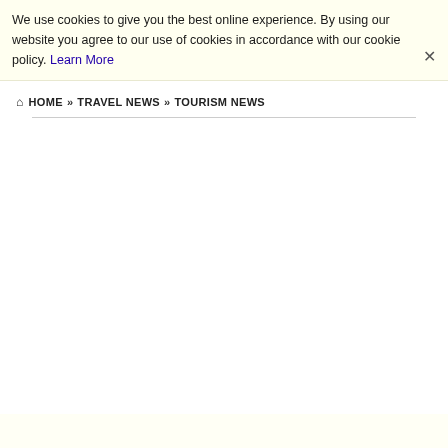We use cookies to give you the best online experience. By using our website you agree to our use of cookies in accordance with our cookie policy. Learn More
HOME » TRAVEL NEWS » TOURISM NEWS